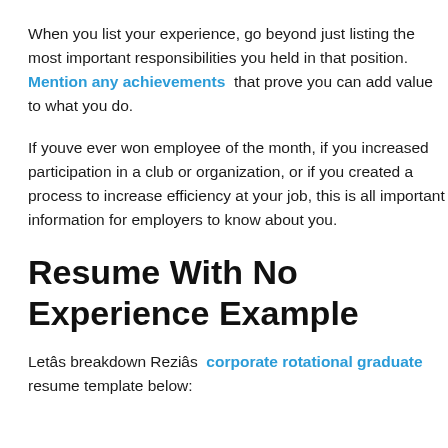When you list your experience, go beyond just listing the most important responsibilities you held in that position. Mention any achievements that prove you can add value to what you do.
If youve ever won employee of the month, if you increased participation in a club or organization, or if you created a process to increase efficiency at your job, this is all important information for employers to know about you.
Resume With No Experience Example
Letâs breakdown Reziâs corporate rotational graduate resume template below: